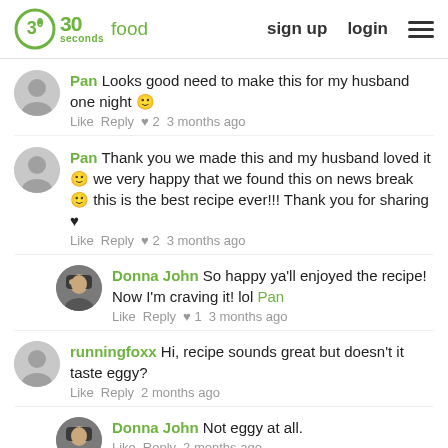30 seconds food | sign up | login
Pan  Looks good need to make this for my husband one night 🙂
Like  Reply  ♥ 2  3 months ago
Pan  Thank you we made this and my husband loved it 🙂 we very happy that we found this on news break 🙂 this is the best recipe ever!!! Thank you for sharing ♥
Like  Reply  ♥ 2  3 months ago
Donna John  So happy ya'll enjoyed the recipe! Now I'm craving it! lol Pan
Like  Reply  ♥ 1  3 months ago
runningfoxx  Hi, recipe sounds great but doesn't it taste eggy?
Like  Reply  2 months ago
Donna John  Not eggy at all.
Like  Reply  2 months ago